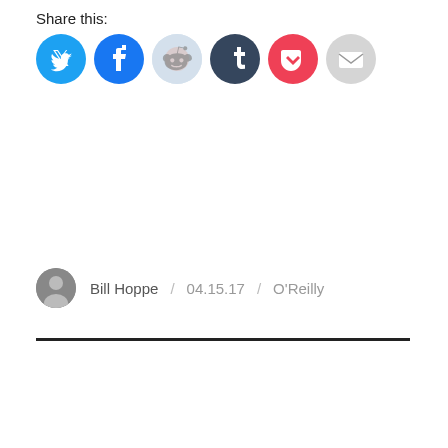Share this:
[Figure (infographic): Six social share buttons: Twitter (cyan), Facebook (blue), Reddit (light blue/grey), Tumblr (dark navy), Pocket (red), Email (grey)]
Bill Hoppe / 04.15.17 / O'Reilly
[Figure (other): Horizontal divider line]